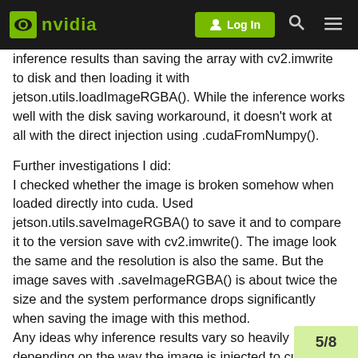NVIDIA  Log In
inference results than saving the array with cv2.imwrite to disk and then loading it with jetson.utils.loadImageRGBA(). While the inference works well with the disk saving workaround, it doesn't work at all with the direct injection using .cudaFromNumpy().
Further investigations I did:
I checked whether the image is broken somehow when loaded directly into cuda. Used jetson.utils.saveImageRGBA() to save it and to compare it to the version save with cv2.imwrite(). The image look the same and the resolution is also the same. But the image saves with .saveImageRGBA() is about twice the size and the system performance drops significantly when saving the image with this method.
Any ideas why inference results vary so heavily depending on the way the image is injected to cuda and why is saving with jetson.utils.saveImageRGBA() double image size and low performance?